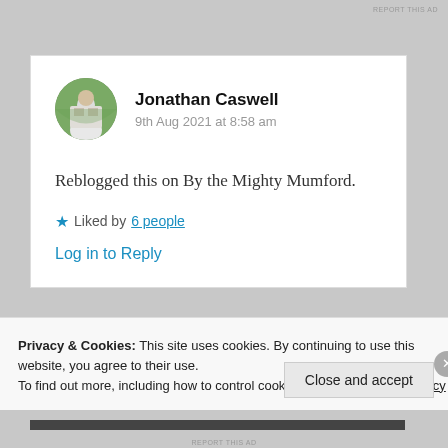REPORT THIS AD
Jonathan Caswell
9th Aug 2021 at 8:58 am
Reblogged this on By the Mighty Mumford.
★ Liked by 6 people
Log in to Reply
Privacy & Cookies: This site uses cookies. By continuing to use this website, you agree to their use.
To find out more, including how to control cookies, see here: Cookie Policy
Close and accept
REPORT THIS AD